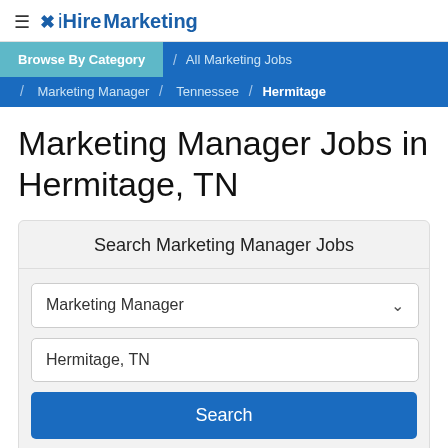≡ ✕ iHireMarketing
Browse By Category / All Marketing Jobs / Marketing Manager / Tennessee / Hermitage
Marketing Manager Jobs in Hermitage, TN
Search Marketing Manager Jobs
Marketing Manager
Hermitage, TN
Search